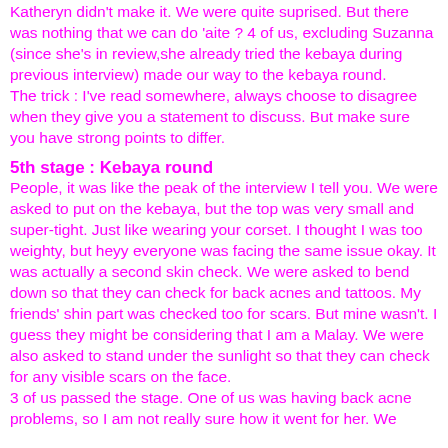Katheryn didn't make it. We were quite suprised. But there was nothing that we can do 'aite ? 4 of us, excluding Suzanna (since she's in review,she already tried the kebaya during previous interview) made our way to the kebaya round.
The trick : I've read somewhere, always choose to disagree when they give you a statement to discuss. But make sure you have strong points to differ.
5th stage : Kebaya round
People, it was like the peak of the interview I tell you. We were asked to put on the kebaya, but the top was very small and super-tight. Just like wearing your corset. I thought I was too weighty, but heyy everyone was facing the same issue okay. It was actually a second skin check. We were asked to bend down so that they can check for back acnes and tattoos. My friends' shin part was checked too for scars. But mine wasn't. I guess they might be considering that I am a Malay. We were also asked to stand under the sunlight so that they can check for any visible scars on the face.
3 of us passed the stage. One of us was having back acne problems, so I am not really sure how it went for her. We